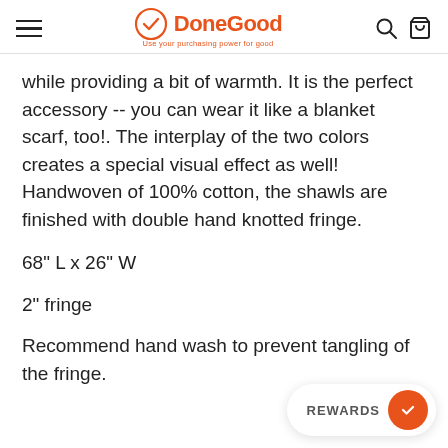DoneGood — Use your purchasing power for good
while providing a bit of warmth. It is the perfect accessory -- you can wear it like a blanket scarf, too!. The interplay of the two colors creates a special visual effect as well! Handwoven of 100% cotton, the shawls are finished with double hand knotted fringe.
68" L x 26" W
2" fringe
Recommend hand wash to prevent tangling of the fringe.